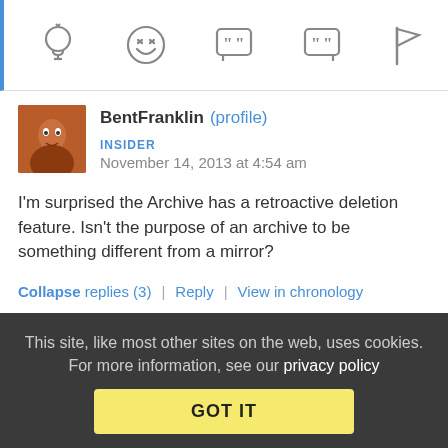[Figure (other): Toolbar with icons: lightbulb, laughing emoji, open-quote speech bubble, close-quote speech bubble, flag]
BentFranklin (profile)
INSIDER
November 14, 2013 at 4:54 am
I'm surprised the Archive has a retroactive deletion feature. Isn't the purpose of an archive to be something different from a mirror?
Collapse replies (3) | Reply | View in chronology
This site, like most other sites on the web, uses cookies. For more information, see our privacy policy
GOT IT